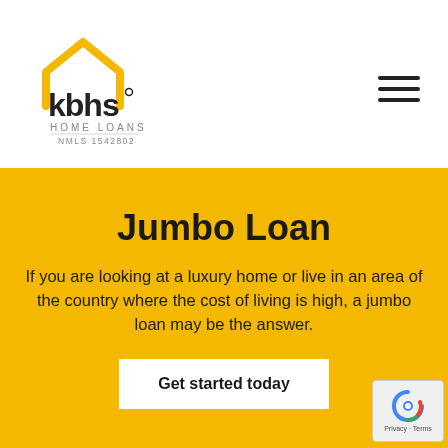[Figure (logo): KBHS Home Loans logo with house/roof icon in gold/yellow and dark text, NMLS 1542802]
Jumbo Loan
If you are looking at a luxury home or live in an area of the country where the cost of living is high, a jumbo loan may be the answer.
Get started today